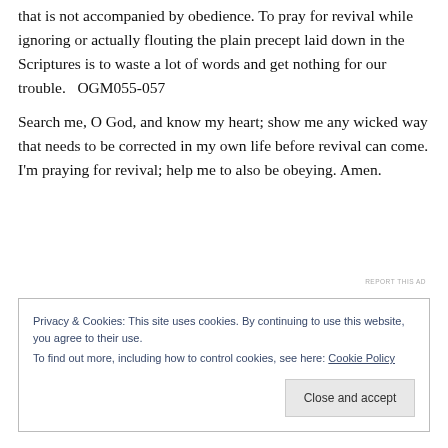that is not accompanied by obedience. To pray for revival while ignoring or actually flouting the plain precept laid down in the Scriptures is to waste a lot of words and get nothing for our trouble.   OGM055-057
Search me, O God, and know my heart; show me any wicked way that needs to be corrected in my own life before revival can come. I'm praying for revival; help me to also be obeying. Amen.
REPORT THIS AD
Privacy & Cookies: This site uses cookies. By continuing to use this website, you agree to their use.
To find out more, including how to control cookies, see here: Cookie Policy
Close and accept